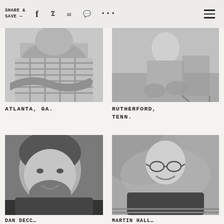SHARE & SAVE —
[Figure (photo): Black and white photo of a man in a checkered shirt with arms crossed, torso/chest view. Location: Atlanta, GA.]
ATLANTA, GA.
[Figure (photo): Black and white photo of a woman kneeling on grass outdoors. Location: Rutherford, Tenn.]
RUTHERFORD, TENN.
[Figure (photo): Black and white close-up photo of a smiling bearded man.]
DAN DECC...
[Figure (photo): Black and white photo of a bald man with glasses smiling, seated outdoors on a deck.]
MARTIN HALL...